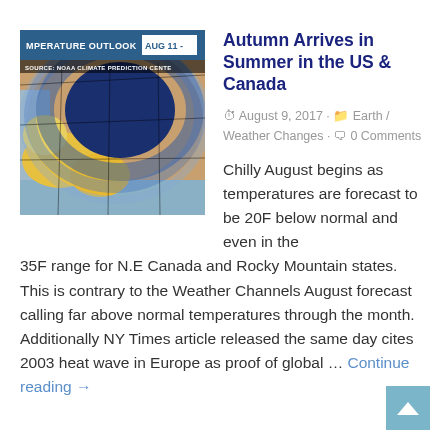[Figure (map): NOAA Climate Prediction Center temperature outlook map for AUG 11, showing below-normal temperatures (blue/dark) over much of the US and Canada]
Autumn Arrives in Summer in the US & Canada
August 9, 2017 · Earth / Weather Changes · 0 Comments
Chilly August begins as temperatures are forecast to be 20F below normal and even in the 35F range for N.E Canada and Rocky Mountain states. This is contrary to the Weather Channels August forecast calling far above normal temperatures through the month. Additionally NY Times article released the same day cites 2003 heat wave in Europe as proof of global … Continue reading →